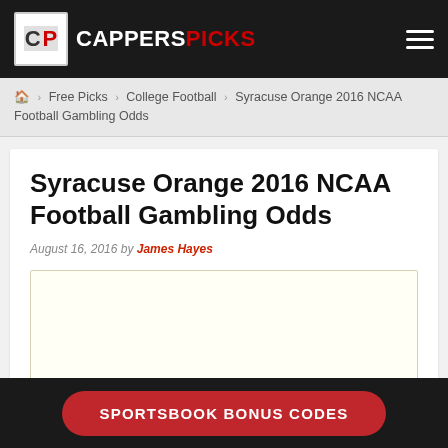CAPPERS PICKS
Home > Free Picks > College Football > Syracuse Orange 2016 NCAA Football Gambling Odds
Syracuse Orange 2016 NCAA Football Gambling Odds
August 16, 2016 by James Hayes
[Figure (other): Advertisement placeholder box]
SPORTSBOOK BONUS CODES